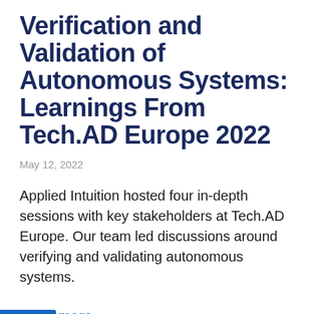Verification and Validation of Autonomous Systems: Learnings From Tech.AD Europe 2022
May 12, 2022
Applied Intuition hosted four in-depth sessions with key stakeholders at Tech.AD Europe. Our team led discussions around verifying and validating autonomous systems.
Read more →